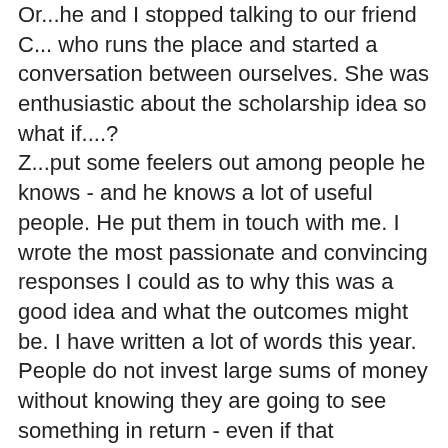Or...he and I stopped talking to our friend C... who runs the place and started a conversation between ourselves. She was enthusiastic about the scholarship idea so what if....?
Z...put some feelers out among people he knows - and he knows a lot of useful people. He put them in touch with me. I wrote the most passionate and convincing responses I could as to why this was a good idea and what the outcomes might be. I have written a lot of words this year. People do not invest large sums of money without knowing they are going to see something in return - even if that something is of no direct benefit to them.
Yesterday we had an "internet" meeting between several potential sponsors, Z and me. We went backwards and forwards late into the night in Europe and the middle of the day here Downunder. The initial $50,000 has been matched with another $50,000. The banker participating in the discussion has